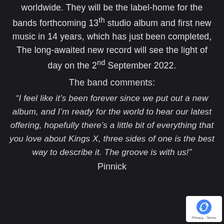worldwide. They will be the label-home for the bands forthcoming 13th studio album and first new music in 14 years, which has just been completed, The long-awaited new record will see the light of day on the 2nd September 2022.
The band comments:
“I feel like it’s been forever since we put out a new album, and I’m ready for the world to hear our latest offering, hopefully there’s a little bit of everything that you love about Kings X, three sides of one is the best way to describe it. The groove is with us!”
Pinnick
[Figure (logo): Google reCAPTCHA badge with recycling-style arrow logo and Privacy - Terms text]